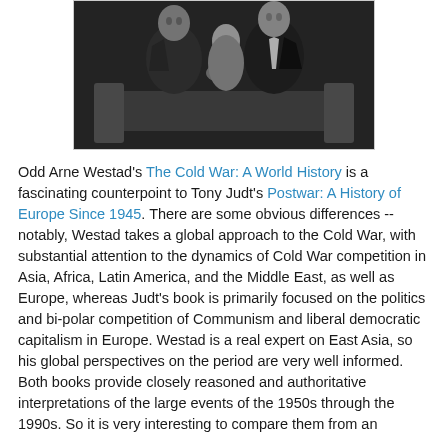[Figure (photo): Black and white photograph of two men in suits appearing to shake hands or meet, seated, in what appears to be an official setting.]
Odd Arne Westad's The Cold War: A World History is a fascinating counterpoint to Tony Judt's Postwar: A History of Europe Since 1945. There are some obvious differences -- notably, Westad takes a global approach to the Cold War, with substantial attention to the dynamics of Cold War competition in Asia, Africa, Latin America, and the Middle East, as well as Europe, whereas Judt's book is primarily focused on the politics and bi-polar competition of Communism and liberal democratic capitalism in Europe. Westad is a real expert on East Asia, so his global perspectives on the period are very well informed. Both books provide closely reasoned and authoritative interpretations of the large events of the 1950s through the 1990s. So it is very interesting to compare them from an